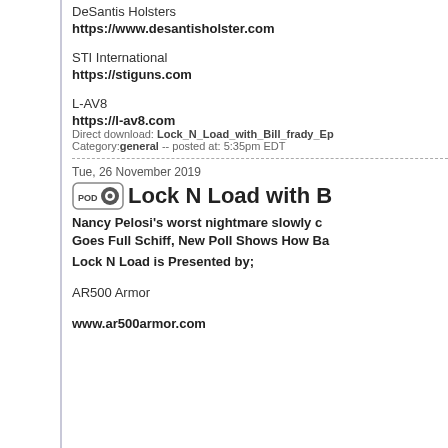DeSantis Holsters
https://www.desantisholster.com
STI International
https://stiguns.com
L-AV8
https://l-av8.com
Direct download: Lock_N_Load_with_Bill_frady_Ep... Category: general -- posted at: 5:35pm EDT
Tue, 26 November 2019
Lock N Load with B
Nancy Pelosi's worst nightmare slowly c... Goes Full Schiff, New Poll Shows How Ba...
Lock N Load is Presented by;
AR500 Armor
www.ar500armor.com